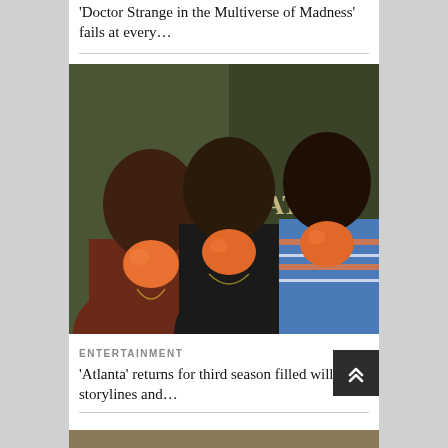'Doctor Strange in the Multiverse of Madness' fails at every…
[Figure (photo): Promotional image for the TV show 'Atlanta' showing three men with peaches in their mouths against a dark background with the text 'ATLA' visible]
ENTERTAINMENT
'Atlanta' returns for third season filled will fresh storylines and…